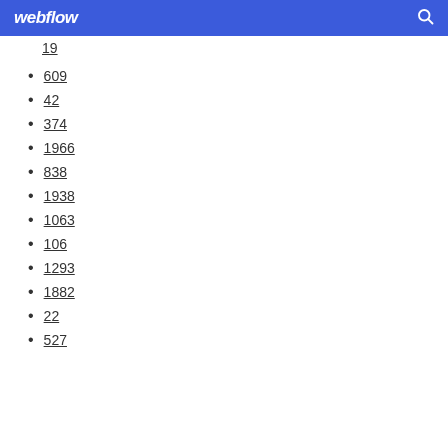webflow [search icon]
19
609
42
374
1966
838
1938
1063
106
1293
1882
22
527